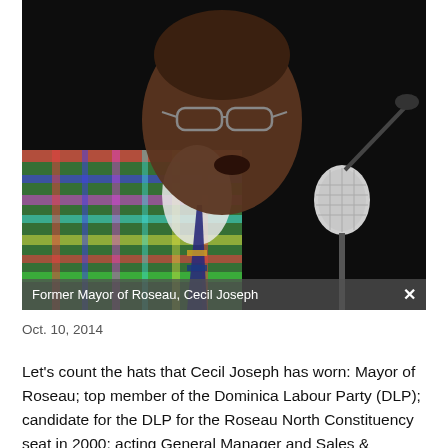[Figure (photo): Former Mayor of Roseau, Cecil Joseph, speaking into a microphone. He is wearing glasses and a colorful plaid/madras jacket. Dark background. Image caption bar at bottom reads: 'Former Mayor of Roseau, Cecil Joseph' with an X close button.]
Oct. 10, 2014
Let's count the hats that Cecil Joseph has worn: Mayor of Roseau; top member of the Dominica Labour Party (DLP); candidate for the DLP for the Roseau North Constituency seat in 2000; acting General Manager and Sales & Marketing Manager of the state-owned Dominica Broadcasting Services, popularly known as DBS Radio. Now, Joseph is putting on a new and